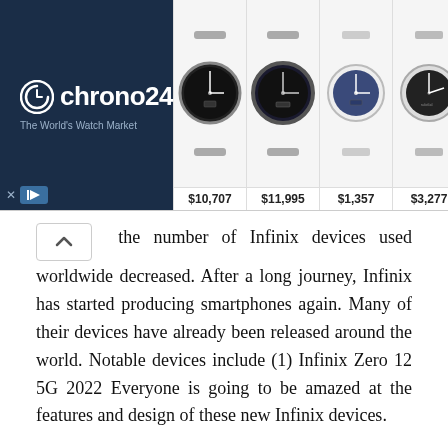[Figure (screenshot): Chrono24 advertisement banner with logo on dark blue background and four watch product images with prices: $10,707, $11,995, $1,357, $3,277]
the number of Infinix devices used worldwide decreased. After a long journey, Infinix has started producing smartphones again. Many of their devices have already been released around the world. Notable devices include (1) Infinix Zero 12 5G 2022 Everyone is going to be amazed at the features and design of these new Infinix devices.
Our guess is that many of you may have used the Infinix device. It's hard to find people who don't like Infinix devices. The Infinix device is always published with powerful features, new features, new categories and great technology. The current era is the era of using the internet and playing gam... As far as we know, Infinix is suitable for playing all device games. You can play high resolution games with this Infinix